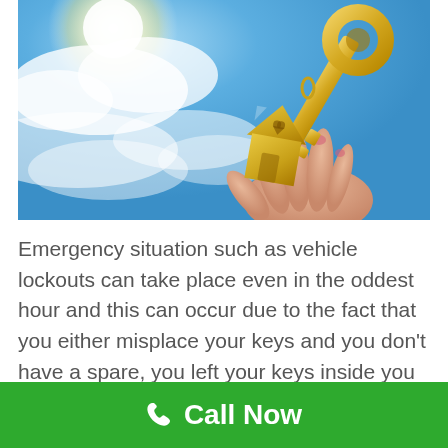[Figure (photo): A hand holding a golden house-shaped keychain and a large golden key against a bright blue sky with white clouds and sun glare]
Emergency situation such as vehicle lockouts can take place even in the oddest hour and this can occur due to the fact that you either misplace your keys and you don't have a spare, you left your keys inside you vehicle, damaged keys, damaged vehicle door lock and even stuck key. Being in this circumstance is both discouraging
Call Now